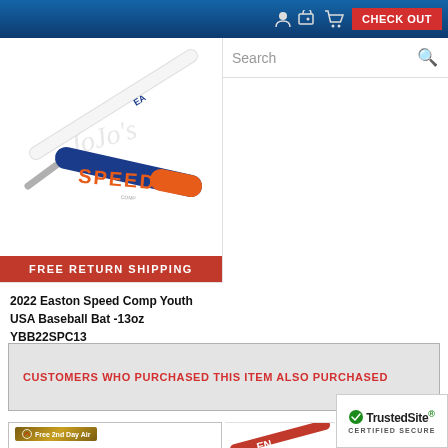CHECK OUT
Search
[Figure (photo): 2022 Easton Speed Comp Youth USA Baseball Bat product image showing two bats — one white with Easton branding, one blue and orange with SPEED lettering — on a white background with a faint script logo watermark. A red banner at the bottom reads FREE RETURN SHIPPING.]
2022 Easton Speed Comp Youth USA Baseball Bat -13oz YBB22SPC13
CUSTOMERS WHO PURCHASED THIS ITEM ALSO PURCHASED
[Figure (photo): Bottom section showing a product thumbnail with a Free 2nd Day Air badge, a partial bat image, and a TrustedSite Certified Secure badge.]